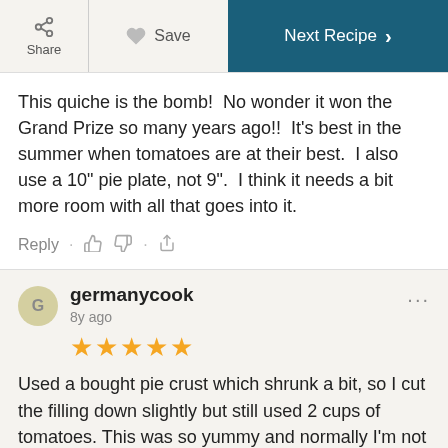Share | Save | Next Recipe
This quiche is the bomb!  No wonder it won the Grand Prize so many years ago!!  It's best in the summer when tomatoes are at their best.  I also use a 10" pie plate, not 9".  I think it needs a bit more room with all that goes into it.
Reply · 👍 👎 · ⬆
germanycook
8y ago
★★★★★
Used a bought pie crust which shrunk a bit, so I cut the filling down slightly but still used 2 cups of tomatoes. This was so yummy and normally I'm not a tomato eater!! Used mozzarella - think you could use any type of